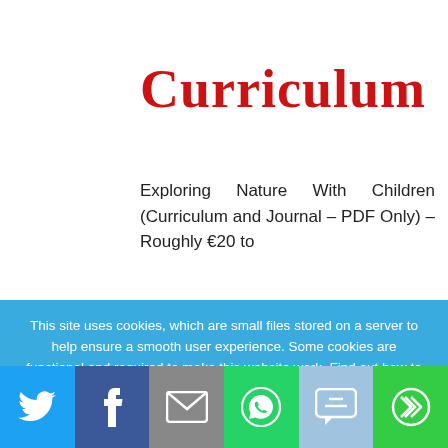Curriculum
Exploring Nature With Children (Curriculum and Journal – PDF Only) – Roughly €20 to
This site uses cookies, which are small files stored on a server to help ensure a smooth user experience. Some cookies are functional and required to make this website work. Find out how to disable cookies in your browser by reading the full policy.
Accept Cookies from Mummies Waiting and Google Analytics
Disable Cookies, check our policy to see how to do this in your browser
[Figure (infographic): Social share bar with Twitter, Facebook, Email, WhatsApp, SMS, and more icons]